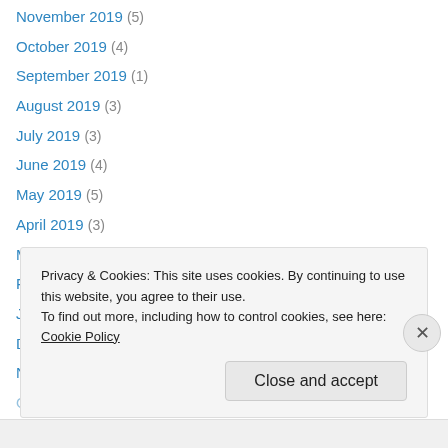November 2019 (5)
October 2019 (4)
September 2019 (1)
August 2019 (3)
July 2019 (3)
June 2019 (4)
May 2019 (5)
April 2019 (3)
March 2019 (6)
February 2019 (6)
January 2019 (6)
December 2018 (9)
November 2018 (4)
October 2018 (2)
Privacy & Cookies: This site uses cookies. By continuing to use this website, you agree to their use.
To find out more, including how to control cookies, see here: Cookie Policy